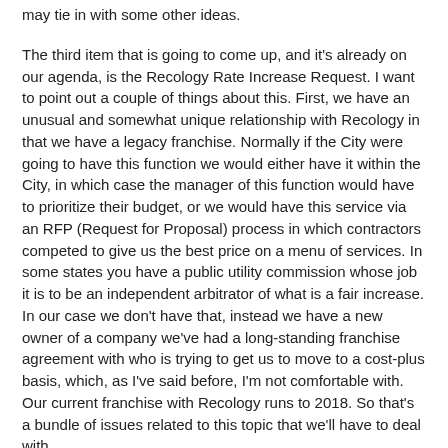may tie in with some other ideas.
The third item that is going to come up, and it's already on our agenda, is the Recology Rate Increase Request. I want to point out a couple of things about this. First, we have an unusual and somewhat unique relationship with Recology in that we have a legacy franchise. Normally if the City were going to have this function we would either have it within the City, in which case the manager of this function would have to prioritize their budget, or we would have this service via an RFP (Request for Proposal) process in which contractors competed to give us the best price on a menu of services. In some states you have a public utility commission whose job it is to be an independent arbitrator of what is a fair increase. In our case we don't have that, instead we have a new owner of a company we've had a long-standing franchise agreement with who is trying to get us to move to a cost-plus basis, which, as I've said before, I'm not comfortable with. Our current franchise with Recology runs to 2018. So that's a bundle of issues related to this topic that we'll have to deal with.